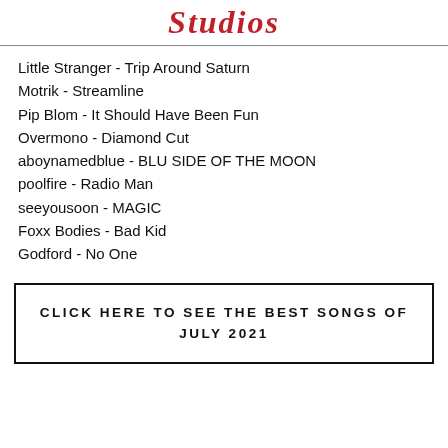Studios
Little Stranger - Trip Around Saturn
Motrik - Streamline
Pip Blom - It Should Have Been Fun
Overmono - Diamond Cut
aboynamedblue - BLU SIDE OF THE MOON
poolfire - Radio Man
seeyousoon - MAGIC
Foxx Bodies - Bad Kid
Godford - No One
CLICK HERE TO SEE THE BEST SONGS OF JULY 2021